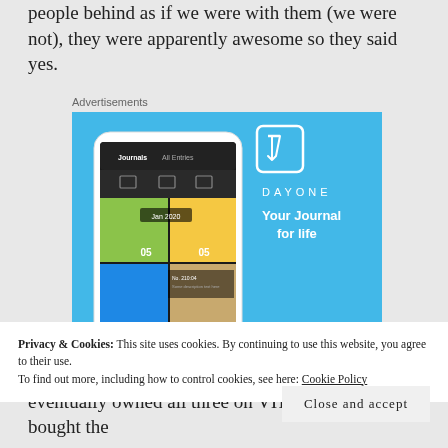people behind as if we were with them (we were not), they were apparently awesome so they said yes.
Advertisements
[Figure (photo): Day One journaling app advertisement with blue background, showing a smartphone mockup with the app interface, a book/journal icon, 'DAYONE' logo, tagline 'Your Journal for life', and a 'Get the app' button.]
Privacy & Cookies: This site uses cookies. By continuing to use this website, you agree to their use.
To find out more, including how to control cookies, see here: Cookie Policy
Close and accept
eventually owned all three on VHS, and then bought the